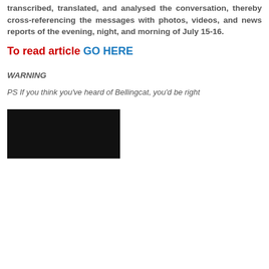transcribed, translated, and analysed the conversation, thereby cross-referencing the messages with photos, videos, and news reports of the evening, night, and morning of July 15-16.
To read article GO HERE
WARNING
PS If you think you've heard of Bellingcat, you'd be right
[Figure (photo): Dark/black image at bottom of page]